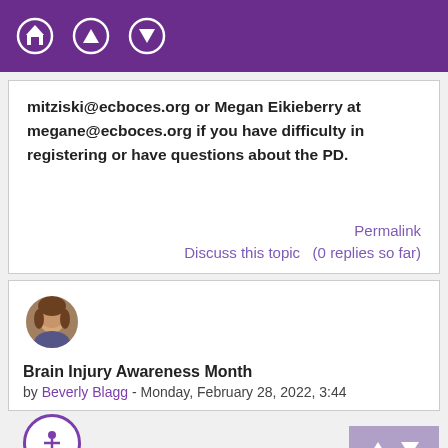Navigation bar with home, up, and down icons
mitziski@ecboces.org or Megan Eikieberry at megane@ecboces.org if you have difficulty in registering or have questions about the PD.
Permalink
Discuss this topic  (0 replies so far)
[Figure (photo): Circular avatar photo of a woman with brown hair]
Brain Injury Awareness Month
by Beverly Blagg - Monday, February 28, 2022, 3:44